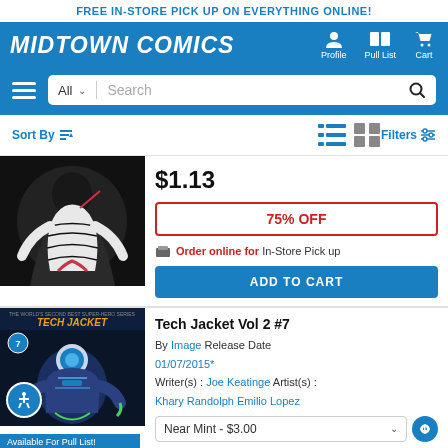FREE IN-STORE PICK UP ON EVERYTHING ONLINE!
[Figure (logo): Midtown Comics logo with navigation icons for Profile, Pull List, and Cart]
[Figure (screenshot): Search bar with All dropdown and Search placeholder]
Sort By | [list view icon] [grid view icon] Filters
[Figure (illustration): Comic book cover art - black and white stylized figure]
$1.13
75% OFF
Order online for In-Store Pick up
ADD TO CART
Available For Pull List!
[Figure (illustration): Tech Jacket Vol 2 #7 comic book cover with colorful sci-fi artwork]
Tech Jacket Vol 2 #7
By Image Release Date 01/07/2015*
Writer(s) : Joe Keatinge Artist(s) :
Khary Randolph Emilio Lopez
Near Mint - $3.00